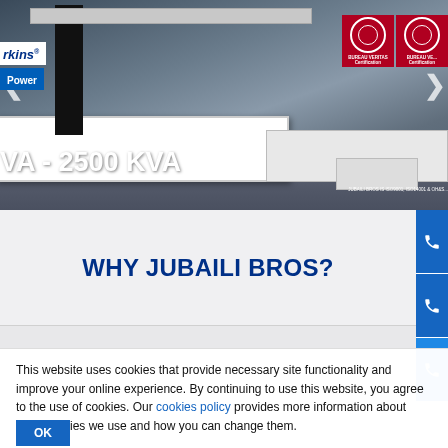[Figure (photo): Hero banner showing industrial diesel generator equipment (white machinery) on a dark floor, with Perkins branding on the left, Bureau Veritas ISO certification logos on the right, navigation arrows, subtitle text 'EL GENERATOR SETS ARE POWERED BY PERKINS ENGINES', and heading 'VA - 2500 KVA' in large white bold text.]
WHY JUBAILI BROS?
This website uses cookies that provide necessary site functionality and improve your online experience. By continuing to use this website, you agree to the use of cookies. Our cookies policy provides more information about what cookies we use and how you can change them.